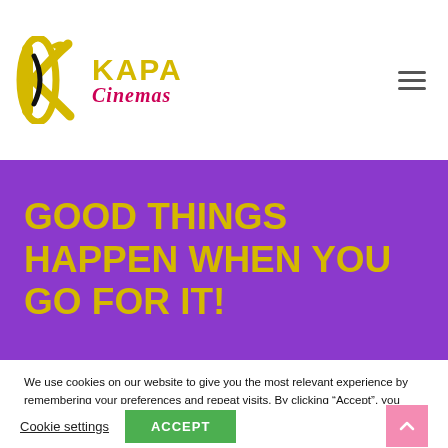[Figure (logo): Kapa Cinemas logo with stylized K icon in yellow/black and text 'KAPA Cinemas' in yellow and pink/red italic]
GOOD THINGS HAPPEN WHEN YOU GO FOR IT!
We use cookies on our website to give you the most relevant experience by remembering your preferences and repeat visits. By clicking “Accept”, you consent to the use of ALL the cookies.
Cookie settings
ACCEPT